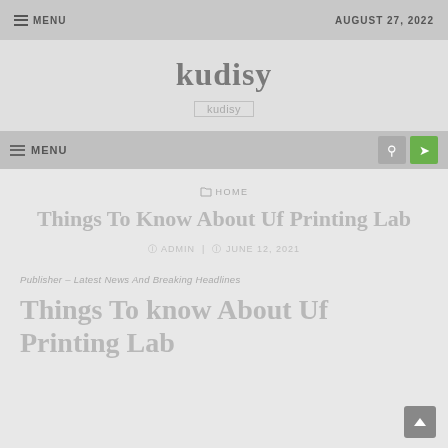MENU | AUGUST 27, 2022
kudisy
kudisy
MENU
HOME
Things To Know About Uf Printing Lab
ADMIN  JUNE 12, 2021
Publisher – Latest News And Breaking Headlines
Things To know About Uf Printing Lab